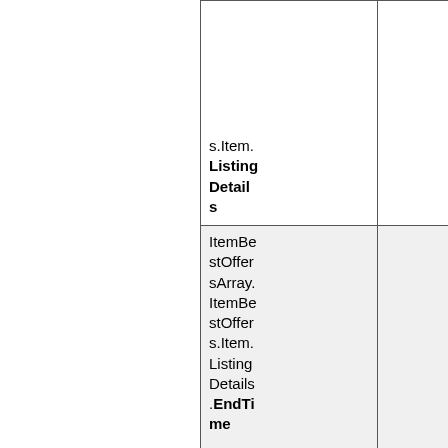| Field | Col2 | Col3 |
| --- | --- | --- |
| s.Item.ListingDetails | (Y) | ( |
| ItemBestOffersArray.ItemBestOffers.Item.ListingDetails.EndTime | (Y) | ( |
| ItemBestOffersArray.ItemBestOffers.Role | (Y) | ( |